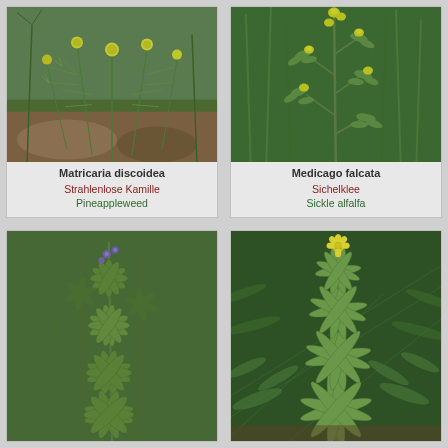[Figure (photo): Photo of Matricaria discoidea (Pineappleweed) - low-growing plant with fine feathery green leaves and small round yellow-green button-like flower heads, growing on rocky/gravelly ground]
Matricaria discoidea
Strahlenlose Kamille
Pineappleweed
[Figure (photo): Photo of Medicago falcata (Sickle alfalfa) - upright green plant with small yellow flowers and narrow leaves, growing in grassy vegetation]
Medicago falcata
Sichelklee
Sickle alfalfa
[Figure (photo): Photo of a plant (bottom left) - green bushy plant with palmate leaves and small purple flowers, growing densely]
[Figure (photo): Photo of a plant (bottom right) - tall green plant with narrow lanceolate leaves and a small yellow flower at the top, growing among moss and ferns]